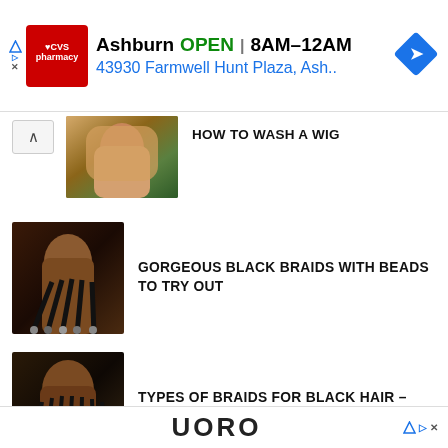[Figure (infographic): CVS Pharmacy advertisement banner showing Ashburn location open 8AM-12AM at 43930 Farmwell Hunt Plaza with navigation arrow icon]
[Figure (photo): Partial article thumbnail showing woman with blonde straight hair, article title HOW TO WASH A WIG partially visible with scroll-up button]
GORGEOUS BLACK BRAIDS WITH BEADS TO TRY OUT
[Figure (photo): Thumbnail showing woman with black box braids with beads hairstyle]
TYPES OF BRAIDS FOR BLACK HAIR – THE FULL BRAIDS GUIDE
[Figure (photo): Thumbnail showing woman with cornrow braids hairstyle]
[Figure (infographic): Bottom advertisement banner showing UOBO or similar brand text with ad attribution icons]